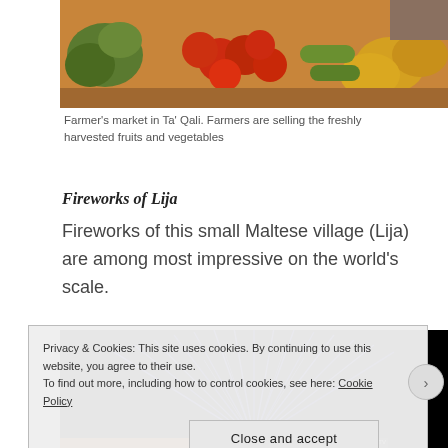[Figure (photo): Farmer's market in Ta' Qali showing freshly harvested fruits and vegetables including tomatoes, squash, and melons on a table with vendors]
Farmer's market in Ta' Qali. Farmers are selling the freshly harvested fruits and vegetables
Fireworks of Lija
Fireworks of this small Maltese village (Lija) are among most impressive on the world's scale.
[Figure (photo): Blue fireworks display against a black night sky, showing radiating streaks of blue light]
Privacy & Cookies: This site uses cookies. By continuing to use this website, you agree to their use.
To find out more, including how to control cookies, see here: Cookie Policy
Close and accept